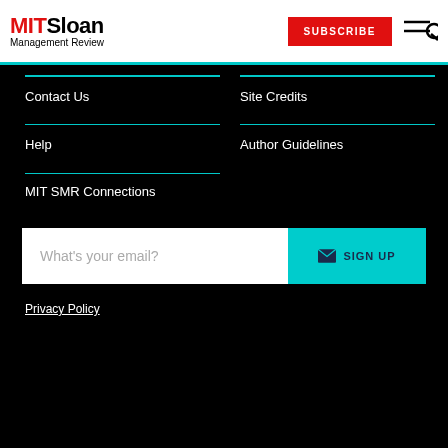MIT Sloan Management Review — SUBSCRIBE
Contact Us
Site Credits
Help
Author Guidelines
MIT SMR Connections
What's your email? SIGN UP
Privacy Policy